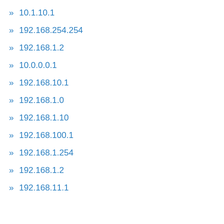» 10.1.10.1
» 192.168.254.254
» 192.168.1.2
» 10.0.0.0.1
» 192.168.10.1
» 192.168.1.0
» 192.168.1.10
» 192.168.100.1
» 192.168.1.254
» 192.168.1.2
» 192.168.11.1